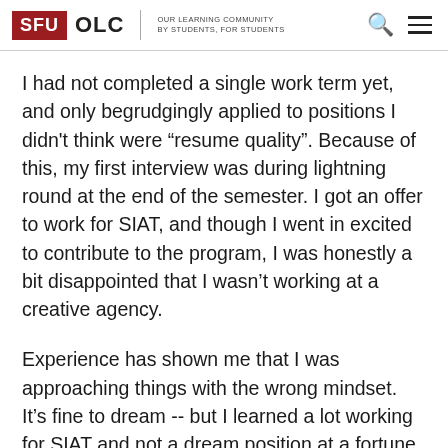SFU OLC | OUR LEARNING COMMUNITY BY STUDENTS, FOR STUDENTS
I had not completed a single work term yet, and only begrudgingly applied to positions I didn't think were “resume quality”. Because of this, my first interview was during lightning round at the end of the semester. I got an offer to work for SIAT, and though I went in excited to contribute to the program, I was honestly a bit disappointed that I wasn’t working at a creative agency.
Experience has shown me that I was approaching things with the wrong mindset. It’s fine to dream -- but I learned a lot working for SIAT and not a dream position at a fortune 500 company. In fact, after my co-op position at SIAT, I secured an internship with